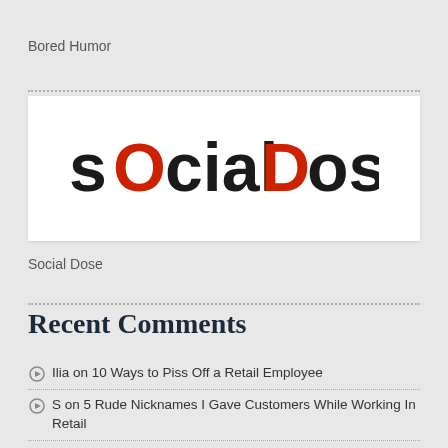Bored Humor
[Figure (logo): sOcialDose logo — black and red text on white background]
Social Dose
Recent Comments
Ilia on 10 Ways to Piss Off a Retail Employee
S on 5 Rude Nicknames I Gave Customers While Working In Retail
Janice Savage on 10 Things I Learned While Working at Starbucks